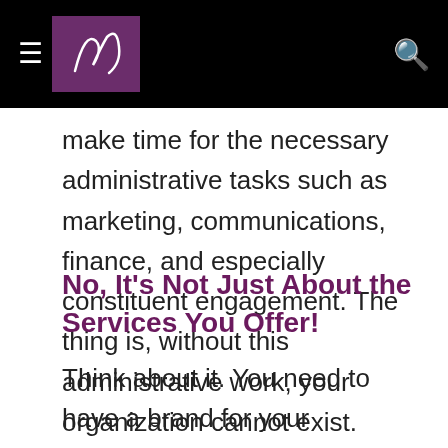[navigation header with hamburger menu, logo, and search icon]
make time for the necessary administrative tasks such as marketing, communications, finance, and especially constituent engagement. The thing is, without this administrative work, your organization cannot exist.
No, It’s Not Just About the Services You Offer!
Think about it. You need to have a brand for your organization, and it needs to be distinguishable from other agencies doing similar work. To keep your stakeholders